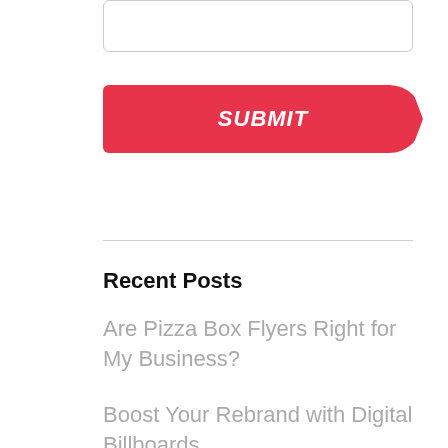[Figure (screenshot): A text input field with rounded corners and light gray border]
[Figure (screenshot): A red parallelogram-shaped SUBMIT button with italic white text]
Recent Posts
Are Pizza Box Flyers Right for My Business?
Boost Your Rebrand with Digital Billboards